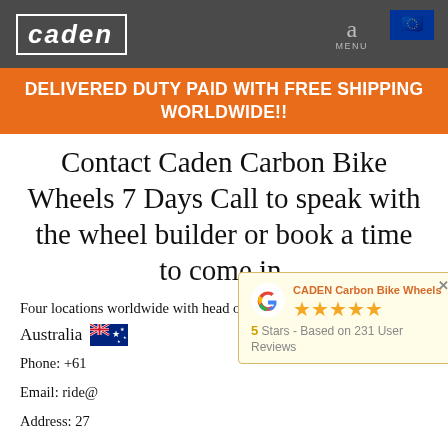caden  a  MENU
DELIVERED DUTY PAID WITH FREE SHIPPING WORLDWIDE!!
Contact Caden Carbon Bike Wheels 7 Days Call to speak with the wheel builder or book a time to come in.
Four locations worldwide with head office in Australia
Australia 🇦🇺
Phone: +61
Email: ride@
Address: 27
[Figure (screenshot): Google review popup showing CADEN Carbon Bike Wheels with 5 stars and 231 user reviews]